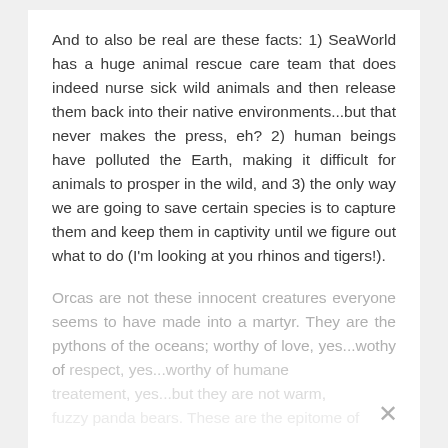And to also be real are these facts: 1) SeaWorld has a huge animal rescue care team that does indeed nurse sick wild animals and then release them back into their native environments...but that never makes the press, eh? 2) human beings have polluted the Earth, making it difficult for animals to prosper in the wild, and 3) the only way we are going to save certain species is to capture them and keep them in captivity until we figure out what to do (I'm looking at you rhinos and tigers!).
Orcas are not these innocent creatures everyone seems to have made into a martyr. They are the pythons of the oceans; worthy of love, yes...wothy of respect, yes...worthy of humane treatement, yes...but they are not warm, fuzzy panda bears. These are the epitome of